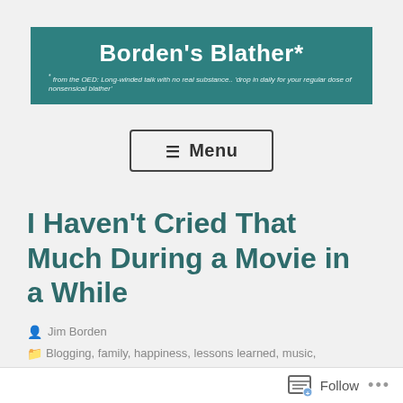Borden's Blather* * from the OED: Long-winded talk with no real substance.. 'drop in daily for your regular dose of nonsensical blather'
☰ Menu
I Haven't Cried That Much During a Movie in a While
Jim Borden
Blogging, family, happiness, lessons learned, music,
Follow ...